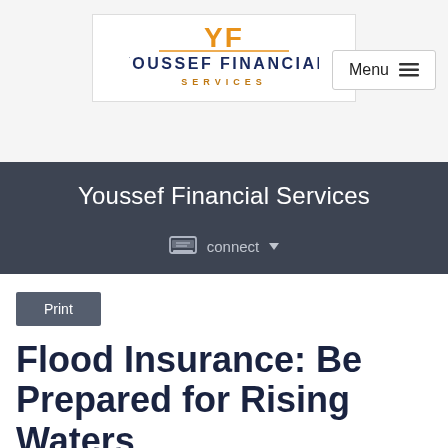[Figure (logo): Youssef Financial Services logo with YF monogram in orange and blue, company name below]
Menu ☰
Youssef Financial Services
⊟ connect ▾
Print
Flood Insurance: Be Prepared for Rising Waters